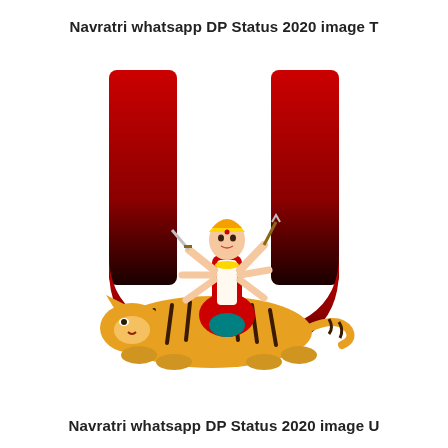Navratri whatsapp DP Status 2020 image T
[Figure (illustration): A large red-to-dark gradient letter U with Goddess Durga (multi-armed, holding weapons, seated on a tiger) illustrated at the center-bottom of the letter U. The tiger is lying at the base of the U. The illustration has a white background.]
Navratri whatsapp DP Status 2020 image U